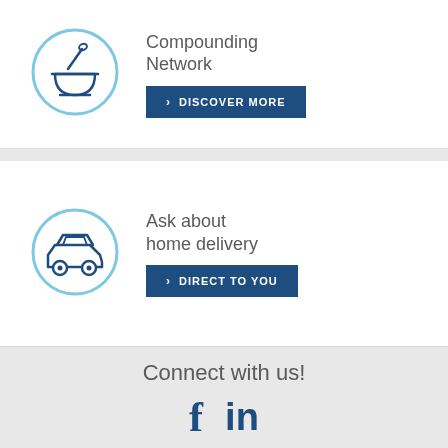[Figure (illustration): Mortar and pestle icon inside a light blue circle outline]
Compounding Network
› DISCOVER MORE
[Figure (illustration): Car icon inside a light blue circle outline]
Ask about home delivery
› DIRECT TO YOU
Connect with us!
[Figure (logo): Facebook and LinkedIn social media icons]